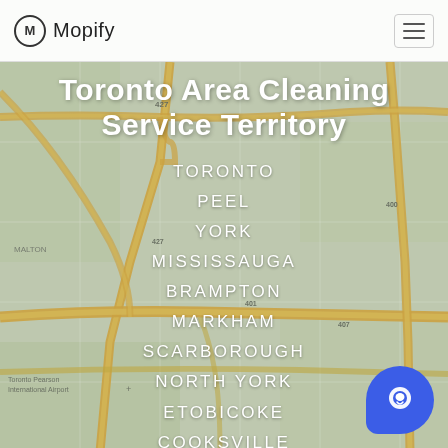Mopify
[Figure (map): Street map of the Toronto area showing highways including 427, 401, 400, and surrounding regions including Malton and Toronto Pearson International Airport. Roads shown in yellow/gold on a light green-grey map background.]
Toronto Area Cleaning Service Territory
TORONTO
PEEL
YORK
MISSISSAUGA
BRAMPTON
MARKHAM
SCARBOROUGH
NORTH YORK
ETOBICOKE
COOKSVILLE